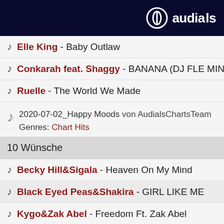audials
Elle King - Baby Outlaw
Conkarah feat. Shaggy - BANANA (DJ FLE MINISIR
Ruelle - The World We Made
2020-07-02_Happy Moods von AudialsChartsTeam Genres: Chart Hits
10 Wünsche
Becky Hill&Sigala - Heaven On My Mind
Black Eyed Peas&Shakira - GIRL LIKE ME
Kygo&Zak Abel - Freedom Ft. Zak Abel